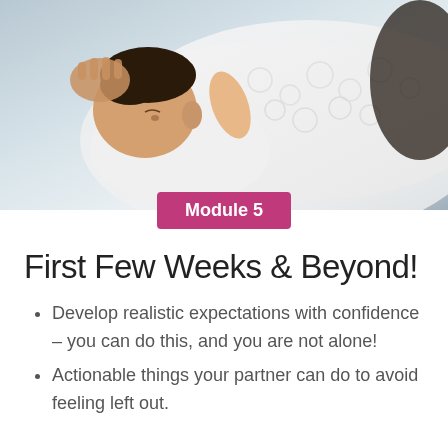[Figure (photo): A newborn baby breastfeeding, lying against a white lace fabric, with a mother's hand supporting the baby's head. Close-up photograph with soft lighting.]
Module 5
First Few Weeks & Beyond!
Develop realistic expectations with confidence – you can do this, and you are not alone!
Actionable things your partner can do to avoid feeling left out.